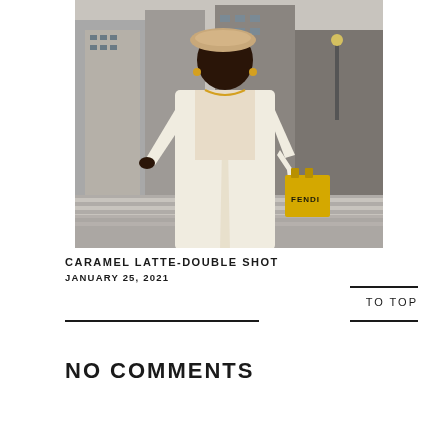[Figure (photo): A Black woman wearing a beige beret, cream/white long coat, brown leather wrap skirt, and heels, walking across a crosswalk in an urban city setting. She carries a yellow Fendi shopping bag in one hand. The background shows city buildings and a wet street.]
CARAMEL LATTE-DOUBLE SHOT
JANUARY 25, 2021
TO TOP
NO COMMENTS